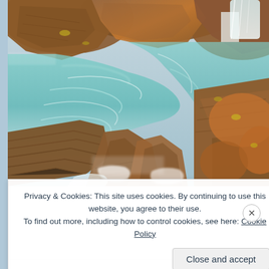[Figure (photo): A nature photograph showing a turquoise mountain stream flowing over and between large layered rocky boulders. The water appears silky from a long exposure. Rocks are brown, orange and grey with lichen. A small waterfall is visible in the upper right.]
Privacy & Cookies: This site uses cookies. By continuing to use this website, you agree to their use.
To find out more, including how to control cookies, see here: Cookie Policy
Close and accept